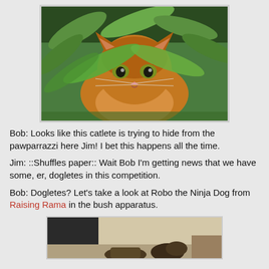[Figure (photo): A fluffy orange tabby cat partially hidden among green leafy plant branches, looking at the camera.]
Bob: Looks like this catlete is trying to hide from the pawparrazzi here Jim! I bet this happens all the time.
Jim: ::Shuffles paper:: Wait Bob I'm getting news that we have some, er, dogletes in this competition.
Bob: Dogletes? Let's take a look at Robo the Ninja Dog from Raising Rama in the bush apparatus.
[Figure (photo): A dog partially visible, bottom portion of a photo showing indoors environment.]